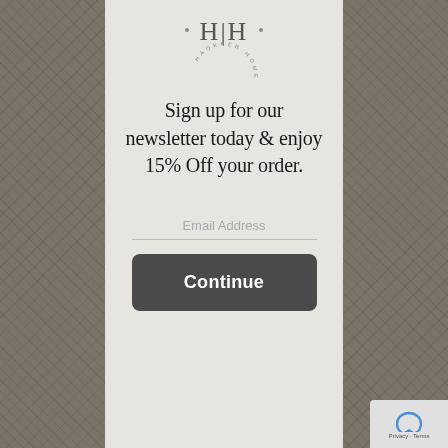[Figure (logo): Haokner Home logo — HH monogram with circular text reading HAOKNER HOME]
Sign up for our newsletter today & enjoy 15% Off your order.
Email Address
Continue